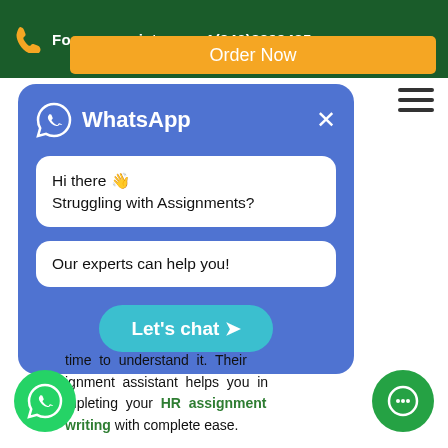For any assistance +1(240)8399485
Order Now
[Figure (screenshot): WhatsApp chat popup with messages: 'Hi there 👋 Struggling with Assignments?' and 'Our experts can help you!' with a 'Let's chat ➤' button]
time to understand it. Their ignment assistant helps you in completing your HR assignment writing with complete ease.